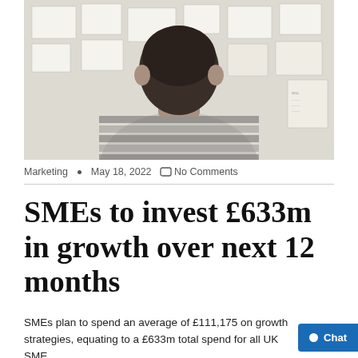[Figure (photo): Person seen from behind wearing a striped sweater, looking at papers pinned to a wall/board]
Marketing  •  May 18, 2022  ○  No Comments
SMEs to invest £633m in growth over next 12 months
SMEs plan to spend an average of £111,175 on growth strategies, equating to a £633m total spend for all UK SME